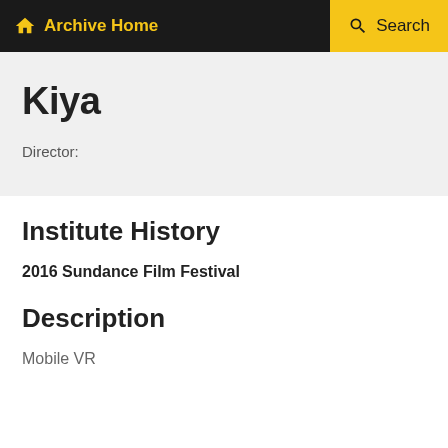Archive Home  Search
Kiya
Director:
Institute History
2016 Sundance Film Festival
Description
Mobile VR